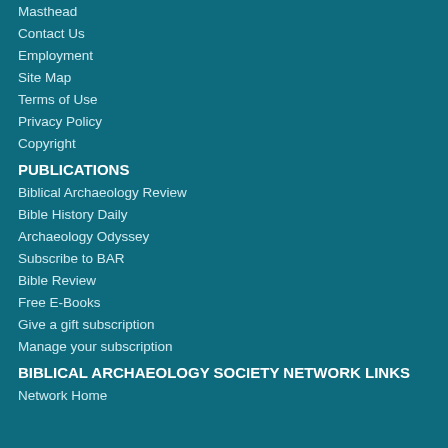Masthead
Contact Us
Employment
Site Map
Terms of Use
Privacy Policy
Copyright
PUBLICATIONS
Biblical Archaeology Review
Bible History Daily
Archaeology Odyssey
Subscribe to BAR
Bible Review
Free E-Books
Give a gift subscription
Manage your subscription
BIBLICAL ARCHAEOLOGY SOCIETY NETWORK LINKS
Network Home